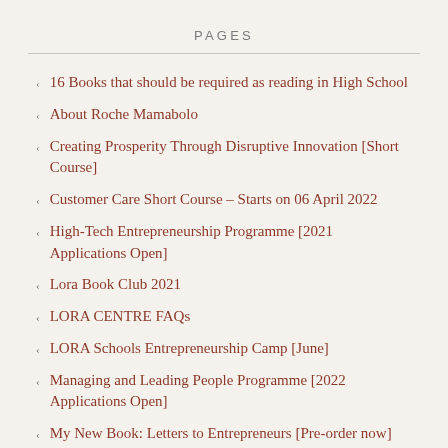PAGES
16 Books that should be required as reading in High School
About Roche Mamabolo
Creating Prosperity Through Disruptive Innovation [Short Course]
Customer Care Short Course – Starts on 06 April 2022
High-Tech Entrepreneurship Programme [2021 Applications Open]
Lora Book Club 2021
LORA CENTRE FAQs
LORA Schools Entrepreneurship Camp [June]
Managing and Leading People Programme [2022 Applications Open]
My New Book: Letters to Entrepreneurs [Pre-order now]
My Reading List of 2018
My Reading List of 2019